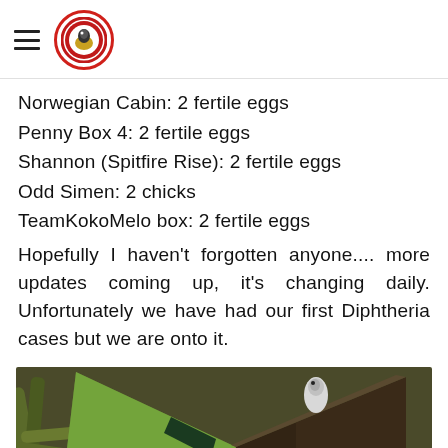[hamburger menu icon] [logo: circular bird/duck organization badge]
Norwegian Cabin: 2 fertile eggs
Penny Box 4: 2 fertile eggs
Shannon (Spitfire Rise): 2 fertile eggs
Odd Simen: 2 chicks
TeamKokoMelo box: 2 fertile eggs
Hopefully I haven't forgotten anyone.... more updates coming up, it's changing daily. Unfortunately we have had our first Diphtheria cases but we are onto it.
[Figure (photo): A bird (duck or waterfowl) peeking into or out of a wooden nest box, surrounded by branches and leaf litter on the ground. The nest box has a triangular roof shape and a visible entrance hole.]